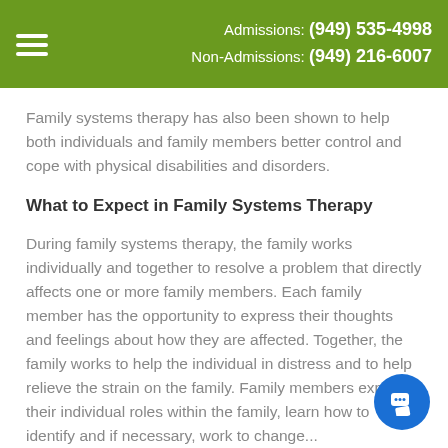Admissions: (949) 535-4998 Non-Admissions: (949) 216-6007
Family systems therapy has also been shown to help both individuals and family members better control and cope with physical disabilities and disorders.
What to Expect in Family Systems Therapy
During family systems therapy, the family works individually and together to resolve a problem that directly affects one or more family members. Each family member has the opportunity to express their thoughts and feelings about how they are affected. Together, the family works to help the individual in distress and to help relieve the strain on the family. Family members explore their individual roles within the family, learn how to identify and if necessary, work to change...